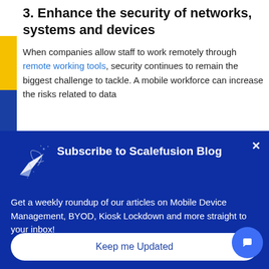3. Enhance the security of networks, systems and devices
When companies allow staff to work remotely through remote working tools, security continues to remain the biggest challenge to tackle. A mobile workforce can increase the risks related to data
[Figure (other): Dark blue modal popup: Subscribe to Scalefusion Blog. Contains a paper airplane icon, close button (x), body text about weekly roundup, and a Keep me Updated button.]